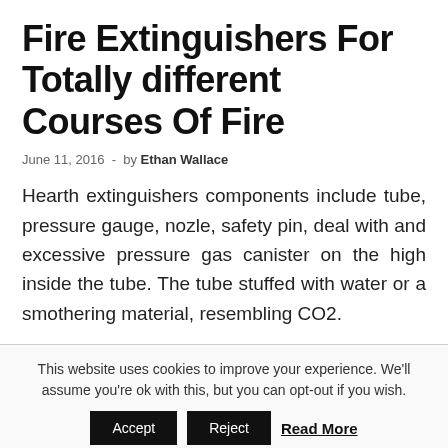Fire Extinguishers For Totally different Courses Of Fire
June 11, 2016  -  by Ethan Wallace
Hearth extinguishers components include tube, pressure gauge, nozle, safety pin, deal with and excessive pressure gas canister on the high inside the tube. The tube stuffed with water or a smothering material, resembling CO2.
This website uses cookies to improve your experience. We'll assume you're ok with this, but you can opt-out if you wish. Accept Reject Read More